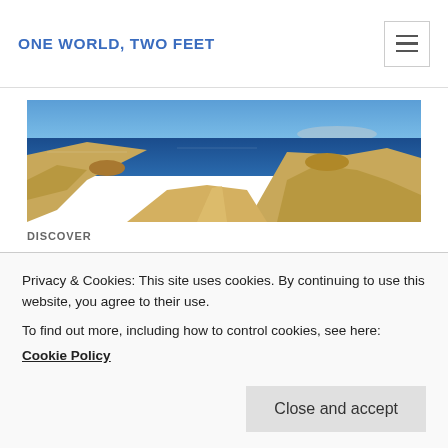ONE WORLD, TWO FEET
[Figure (photo): Panoramic view of a rocky hillside overlooking a deep blue sea under a clear blue sky, with a dirt path visible on the ridge.]
DISCOVER
Mykonos: Sun, Sand, and
Privacy & Cookies: This site uses cookies. By continuing to use this website, you agree to their use.
To find out more, including how to control cookies, see here:
Cookie Policy
Close and accept